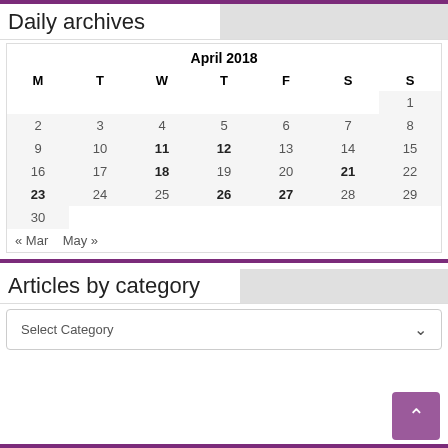Daily archives
| M | T | W | T | F | S | S |
| --- | --- | --- | --- | --- | --- | --- |
|  |  |  |  |  |  | 1 |
| 2 | 3 | 4 | 5 | 6 | 7 | 8 |
| 9 | 10 | 11 | 12 | 13 | 14 | 15 |
| 16 | 17 | 18 | 19 | 20 | 21 | 22 |
| 23 | 24 | 25 | 26 | 27 | 28 | 29 |
| 30 |  |  |  |  |  |  |
« Mar   May »
Articles by category
Select Category